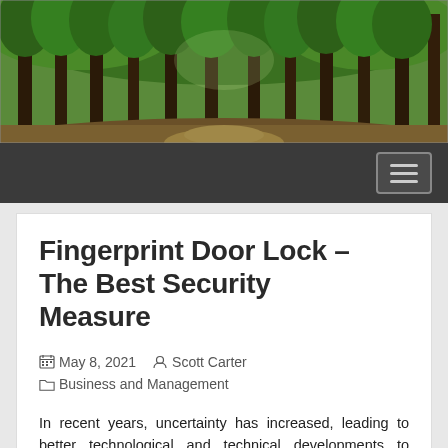[Figure (photo): Banner photograph of a forest with tall green trees, dense foliage, and a dirt path, viewed panoramically.]
Navigation bar with hamburger menu button
Fingerprint Door Lock – The Best Security Measure
May 8, 2021   Scott Carter   Business and Management
In recent years, uncertainty has increased, leading to better technological and technical developments to increase security at all levels. This means that the fingerprint door lock has been which